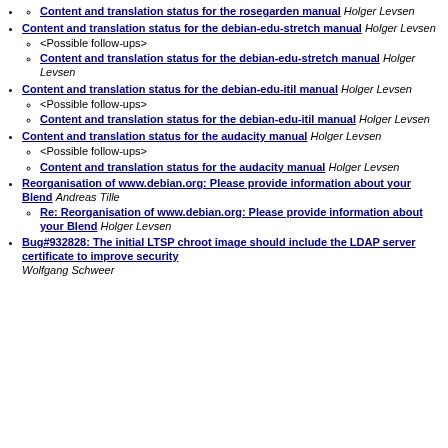Content and translation status for the rosegarden manual Holger Levsen
Content and translation status for the debian-edu-stretch manual Holger Levsen
<Possible follow-ups>
Content and translation status for the debian-edu-stretch manual Holger Levsen
Content and translation status for the debian-edu-itil manual Holger Levsen
<Possible follow-ups>
Content and translation status for the debian-edu-itil manual Holger Levsen
Content and translation status for the audacity manual Holger Levsen
<Possible follow-ups>
Content and translation status for the audacity manual Holger Levsen
Reorganisation of www.debian.org: Please provide information about your Blend Andreas Tille
Re: Reorganisation of www.debian.org: Please provide information about your Blend Holger Levsen
Bug#932828: The initial LTSP chroot image should include the LDAP server certificate to improve security Wolfgang Schweer